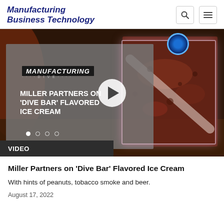Manufacturing Business Technology
[Figure (screenshot): Video thumbnail showing Manufacturing Dive logo, text 'MILLER PARTNERS ON DIVE BAR FLAVORED ICE CREAM', a play button overlay, and a close-up photo of an ice cream bar. A 'VIDEO' label bar appears at the bottom left.]
Miller Partners on 'Dive Bar' Flavored Ice Cream
With hints of peanuts, tobacco smoke and beer.
August 17, 2022